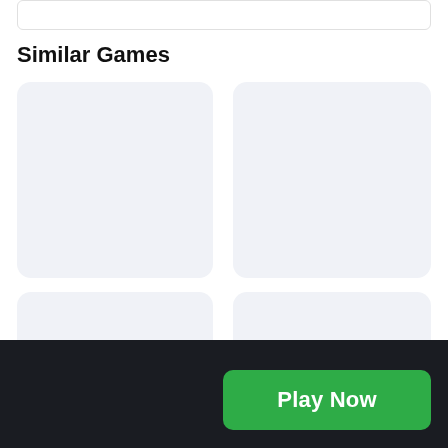Similar Games
[Figure (other): Empty game card placeholder, top left]
[Figure (other): Empty game card placeholder, top right]
[Figure (other): Game card with broken image labeled Mystic Orbs, bottom left]
[Figure (other): Empty game card placeholder, bottom right]
Play Now